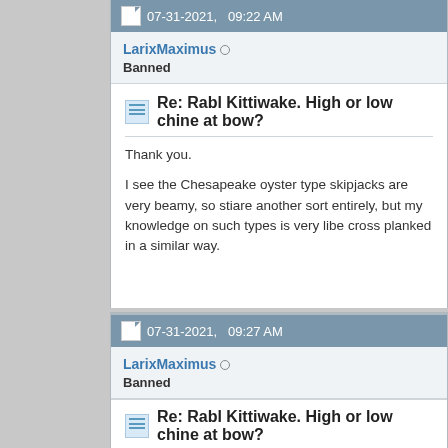07-31-2021, 09:22 AM
LarixMaximus
Banned
Re: Rabl Kittiwake. High or low chine at bow?
Thank you.

I see the Chesapeake oyster type skipjacks are very beamy, so sti... are another sort entirely, but my knowledge on such types is very li... be cross planked in a similar way.
07-31-2021, 09:27 AM
LarixMaximus
Banned
Re: Rabl Kittiwake. High or low chine at bow?
[Figure (engineering-diagram): Boat hull cross-section diagram showing LOA: 15'4-1/2" and Beam at Sta 5: 5'2-1/2" with numbered stations and a top-down view of the hull shape]